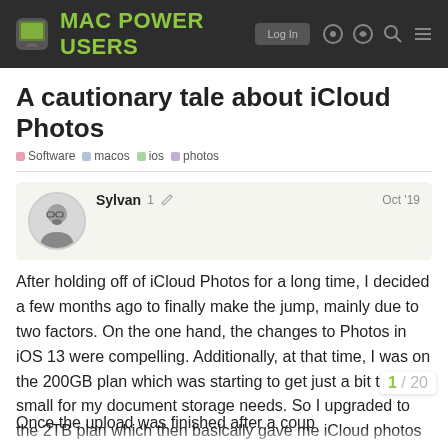MAC POWER USERS
A cautionary tale about iCloud Photos
Software  macos  ios  photos
Sylvan  1 ✏  Oct '19
After holding off of iCloud Photos for a long time, I decided a few months ago to finally make the jump, mainly due to two factors. On the one hand, the changes to Photos in iOS 13 were compelling. Additionally, at that time, I was on the 200GB plan which was starting to get just a bit too small for my document storage needs. So I upgraded to the 2TB plan which then basically gave me iCloud photos 'for free'. Shortly after, I made an additional backup of my library and then checked the box to activate iCloud Photos on my MacBook Pro where all of my photos were stored. That's were a month-l
Once the upload was finished after a coup
1 / 20